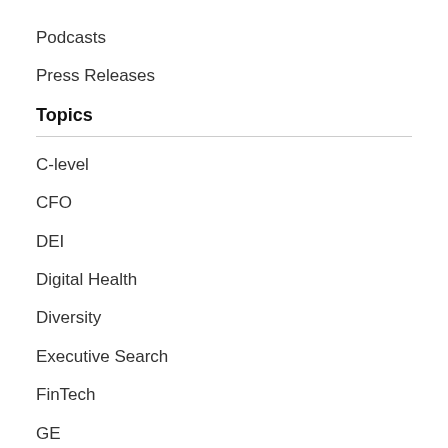Podcasts
Press Releases
Topics
C-level
CFO
DEI
Digital Health
Diversity
Executive Search
FinTech
GE